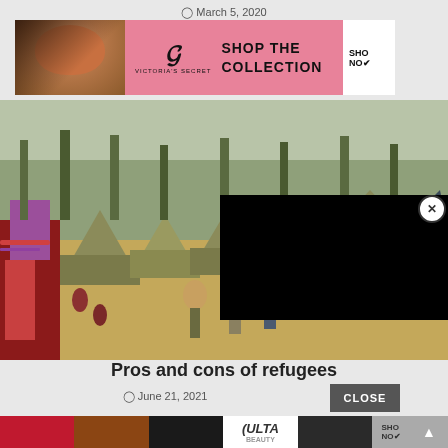March 5, 2020
[Figure (photo): Victoria's Secret advertisement banner with model, logo, and 'SHOP THE COLLECTION' text]
[Figure (photo): Refugee camp photo showing rows of tan tents and children walking outdoors]
[Figure (other): Black video player overlay with close (X) button]
Pros and cons of refugees
June 21, 2021
[Figure (photo): ULTA Beauty advertisement banner showing makeup close-ups, logo, and 'SHOP NOW' text]